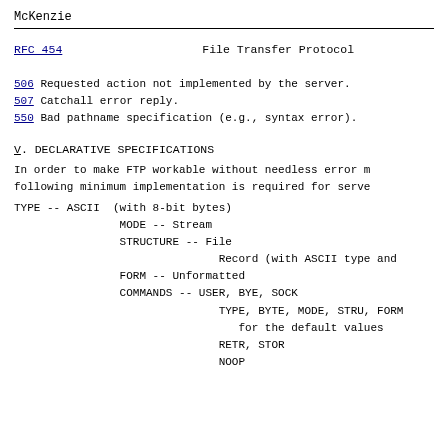McKenzie
RFC 454                    File Transfer Protocol
506 Requested action not implemented by the server.
507 Catchall error reply.
550 Bad pathname specification (e.g., syntax error).
V.  DECLARATIVE SPECIFICATIONS
In order to make FTP workable without needless error messages, the following minimum implementation is required for servers:
TYPE -- ASCII  (with 8-bit bytes)
                MODE -- Stream
                STRUCTURE -- File
                               Record (with ASCII type and
                FORM -- Unformatted
                COMMANDS -- USER, BYE, SOCK
                               TYPE, BYTE, MODE, STRU, FORM
                                  for the default values
                               RETR, STOR
                               NOOP